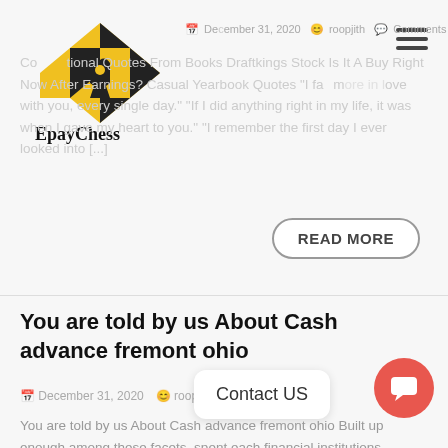[Figure (logo): EpayChess logo with chess piece in black and yellow checkered diamond pattern above text 'EpayChess']
December 31, 2020  roopjith  Comments Off
Conventional Quotes From Books Draftkings Stock Is It A Buy Right Now After Earnings? Casual Yearbook Quotes "I fall more in love with you, every single day." "If I did anything right in my life, it was when I gave my heart to you." "I remember the first day I ever looked into [...]
READ MORE
You are told by us About Cash advance fremont ohio
December 31, 2020  roopjit...  ...Off
You are told by us About Cash advance fremont ohio Built up enough among these facets, spent each financial institutions